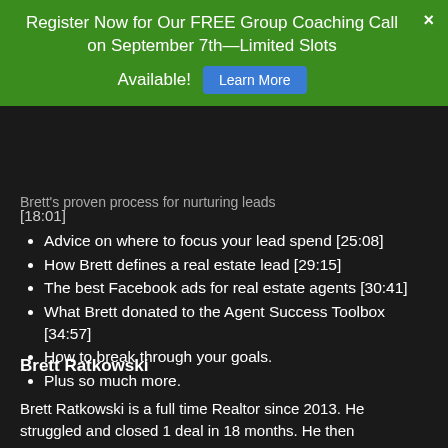Register Now for Our FREE Group Coaching Call on September 7th—Limited Slots Available! [Learn More] ×
Brett's proven process for nurturing leads [18:01]
Advice on where to focus your lead spend [25:08]
How Brett defines a real estate lead [29:15]
The best Facebook ads for real estate agents [30:41]
What Brett donated to the Agent Success Toolbox [34:57]
How to break through your goals.
Plus so much more.
Brett Ratkowski
Brett Ratkowski is a full time Realtor since 2013. He struggled and closed 1 deal in 18 months. He then